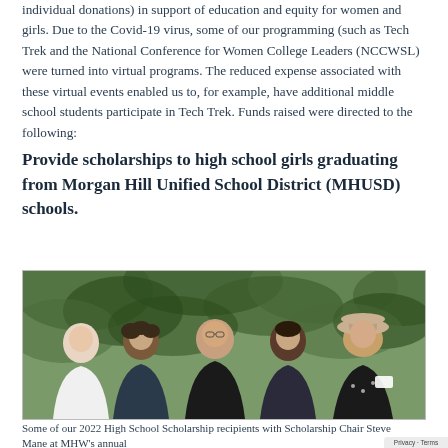individual donations) in support of education and equity for women and girls. Due to the Covid-19 virus, some of our programming (such as Tech Trek and the National Conference for Women College Leaders (NCCWSL) were turned into virtual programs. The reduced expense associated with these virtual events enabled us to, for example, have additional middle school students participate in Tech Trek. Funds raised were directed to the following:
Provide scholarships to high school girls graduating from Morgan Hill Unified School District (MHUSD) schools.
[Figure (photo): Group photo of five women smiling outdoors in front of green trees/foliage. They appear to be scholarship recipients and a mentor/coordinator.]
Some of our 2022 High School Scholarship recipients with Scholarship Chair Steve Mane at MHW's annual...